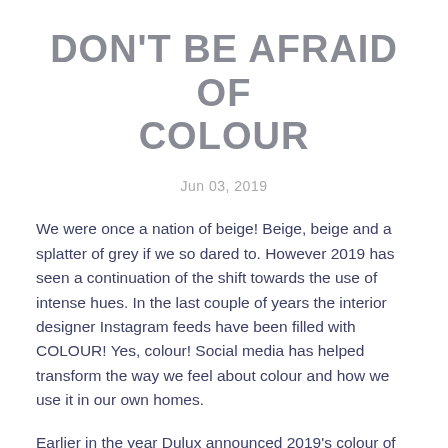DON'T BE AFRAID OF COLOUR
Jun 03, 2019
We were once a nation of beige! Beige, beige and a splatter of grey if we so dared to. However 2019 has seen a continuation of the shift towards the use of intense hues. In the last couple of years the interior designer Instagram feeds have been filled with COLOUR! Yes, colour! Social media has helped transform the way we feel about colour and how we use it in our own homes.
Earlier in the year Dulux announced 2019's colour of the year as 'Spice Honey', a vibrant yet warm colour